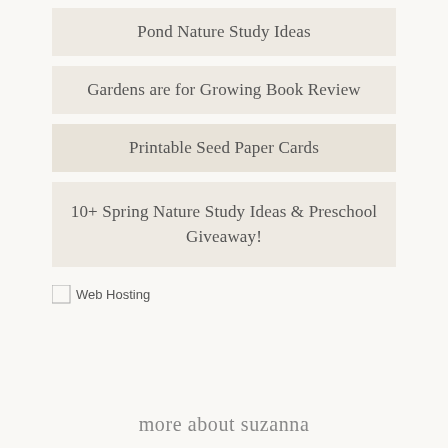Pond Nature Study Ideas
Gardens are for Growing Book Review
Printable Seed Paper Cards
10+ Spring Nature Study Ideas & Preschool Giveaway!
[Figure (other): Broken image placeholder for Web Hosting link]
more about suzanna